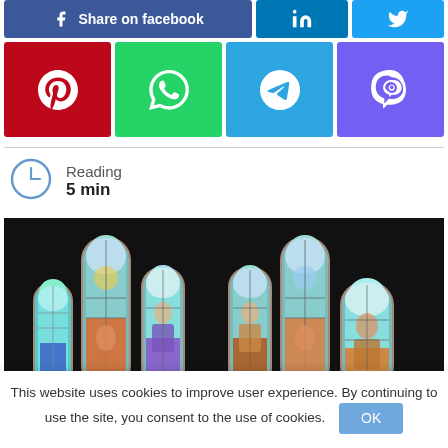[Figure (other): Social media share buttons: Facebook (large, blue), LinkedIn (blue icon), Twitter (light blue icon)]
[Figure (other): Social media share buttons row 2: Pinterest (red), WhatsApp (green), Telegram (blue), Viber (purple)]
Reading
5 min
[Figure (photo): Stained glass church windows with religious figures against a dark background, six tall arched panels]
This website uses cookies to improve user experience. By continuing to use the site, you consent to the use of cookies.